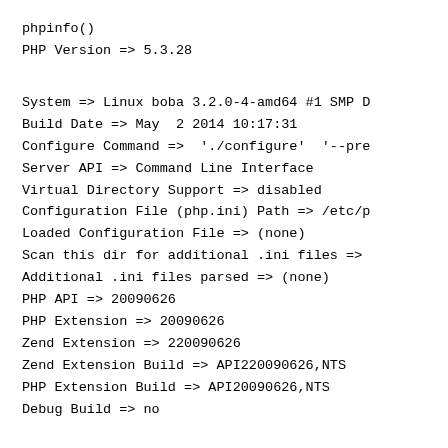phpinfo()
PHP Version => 5.3.28

System => Linux boba 3.2.0-4-amd64 #1 SMP D
Build Date => May  2 2014 10:17:31
Configure Command =>  './configure'  '--pre
Server API => Command Line Interface
Virtual Directory Support => disabled
Configuration File (php.ini) Path => /etc/p
Loaded Configuration File => (none)
Scan this dir for additional .ini files =>
Additional .ini files parsed => (none)
PHP API => 20090626
PHP Extension => 20090626
Zend Extension => 220090626
Zend Extension Build => API220090626,NTS
PHP Extension Build => API20090626,NTS
Debug Build => no